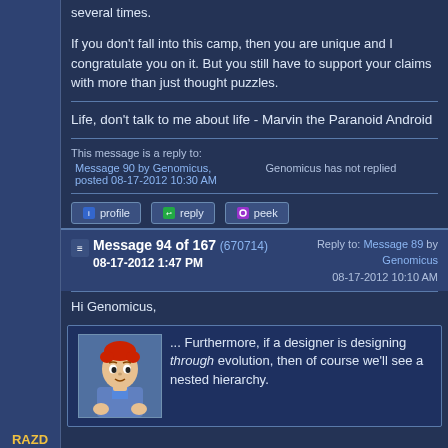several times.
If you don't fall into this camp, then you are unique and I congratulate you on it. But you still have to support your claims with more than just thought puzzles.
Life, don't talk to me about life - Marvin the Paranoid Android
This message is a reply to: Message 90 by Genomicus, posted 08-17-2012 10:30 AM | Genomicus has not replied
RAZD
Member (Idle past 737 days)
Message 94 of 167 (670714)
08-17-2012 1:47 PM
Reply to: Message 89 by Genomicus
08-17-2012 10:10 AM
Hi Genomicus,
... Furthermore, if a designer is designing through evolution, then of course we'll see a nested hierarchy.